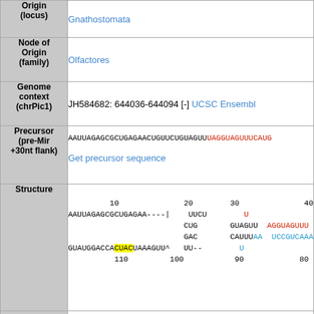| Field | Value |
| --- | --- |
| Origin (locus) | Gnathostomata |
| Node of Origin (family) | Olfactores |
| Genome context (chrPic1) | JH584682: 644036-644094 [-] UCSC Ensembl |
| Precursor (pre-Mir +30nt flank) | AAUUAGAGCGCUGAGAACUGUUCUGUAGUUUAGGUAGUUUCAUG... Get precursor sequence |
| Structure | AAUUAGAGCGCUGAGAA----| UUCU U CUG GUAGUU AGGUAGUUU GAC CAUUAA UCCGUCAAA GUAUGGACCACUACUAAAGUU^ UU-- U 110 100 90 80 |